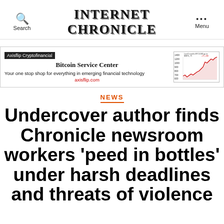INTERNET CHRONICLE
[Figure (infographic): Axisflip Cryptofinancial advertisement banner with Bitcoin Service Center logo, tagline 'Your one stop shop for everything in emerging financial technology', axisflip.com URL, and a small line chart showing Bitcoin price data]
NEWS
Undercover author finds Chronicle newsroom workers 'peed in bottles' under harsh deadlines and threats of violence